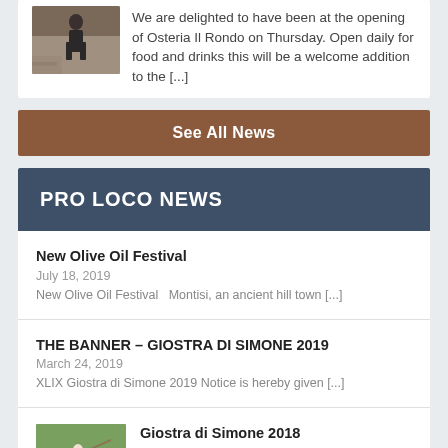[Figure (photo): Photo of a person standing near a stone wall building]
We are delighted to have been at the opening of Osteria Il Rondo on Thursday. Open daily for food and drinks this will be a welcome addition to the [...]
See All News
PRO LOCO NEWS
New Olive Oil Festival
July 18, 2019
New Olive Oil Festival   Montisi, an ancient hill town [...]
THE BANNER – GIOSTRA DI SIMONE 2019
March 24, 2019
XLIX Giostra di Simone 2019 Notice is hereby given [...]
[Figure (photo): Photo of a person on horseback at the Giostra di Simone event]
Giostra di Simone 2018
July 11, 2018
The Pro Loco Giostra di Simone is delighted to [...]